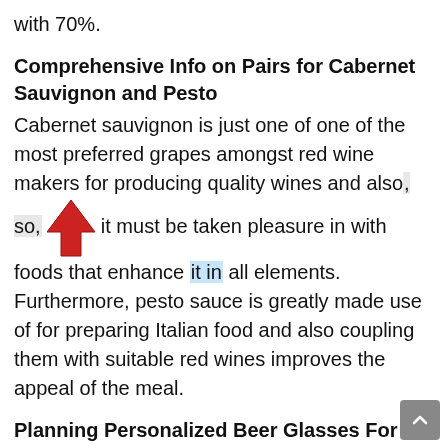with 70%.
Comprehensive Info on Pairs for Cabernet Sauvignon and Pesto
Cabernet sauvignon is just one of one of the most preferred grapes amongst red wine makers for producing quality wines and also, so, it must be taken pleasure in with foods that enhance it in all elements. Furthermore, pesto sauce is greatly made use of for preparing Italian food and also coupling them with suitable red wines improves the appeal of the meal.
Planning Personalized Beer Glasses For Friends
Finding that special present for a good friend that has actually done something terrific for you is sometimes difficult to find. Finding something for women is rather easy as women like various points. But locating something special for a male bit...